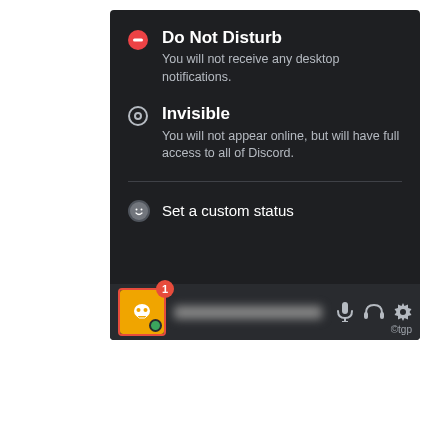[Figure (screenshot): Discord desktop app screenshot showing a user status menu with 'Do Not Disturb', 'Invisible', and 'Set a custom status' options. The bottom bar shows a user avatar with a red notification badge (1), a blurred username, microphone icon, headphones icon, and settings gear icon. A red border highlights the avatar. Watermark '©tgp' visible.]